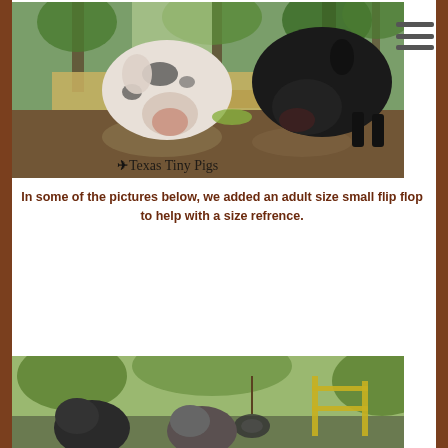[Figure (photo): Two pigs — one white with black spots, one solid black — drinking or sniffing at the edge of a muddy puddle, with their reflections visible in the water. A watermark reads 'Texas Tiny Pigs' with a small airplane icon.]
In some of the pictures below, we added an adult size small flip flop to help with a size refrence.
[Figure (photo): Partial view of small pigs in an outdoor enclosure with green vegetation and a yellow fence structure.]